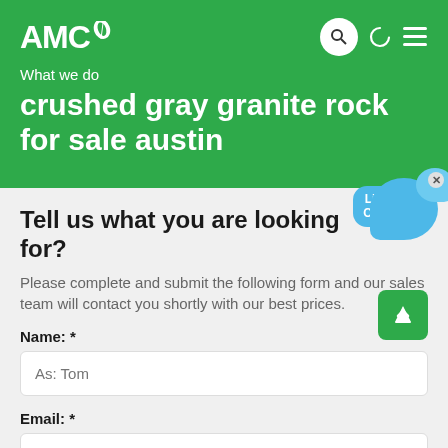[Figure (logo): AMC logo with green leaf icon in white on green background]
What we do
crushed gray granite rock for sale austin
Tell us what you are looking for?
Please complete and submit the following form and our sales team will contact you shortly with our best prices.
Name: *
As: Tom
Email: *
As: vip@shanghaimeilan.com
Phone: *